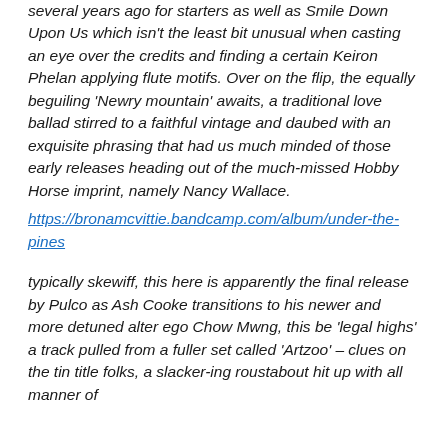several years ago for starters as well as Smile Down Upon Us which isn't the least bit unusual when casting an eye over the credits and finding a certain Keiron Phelan applying flute motifs. Over on the flip, the equally beguiling 'Newry mountain' awaits, a traditional love ballad stirred to a faithful vintage and daubed with an exquisite phrasing that had us much minded of those early releases heading out of the much-missed Hobby Horse imprint, namely Nancy Wallace.
https://bronamcvittie.bandcamp.com/album/under-the-pines
typically skewiff, this here is apparently the final release by Pulco as Ash Cooke transitions to his newer and more detuned alter ego Chow Mwng, this be 'legal highs' a track pulled from a fuller set called 'Artzoo' – clues on the tin title folks, a slacker-ing roustabout hit up with all manner of